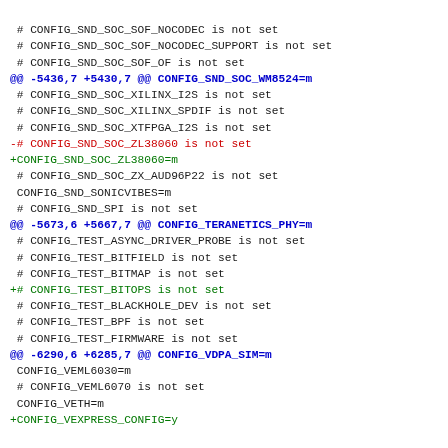# CONFIG_SND_SOC_SOF_NOCODEC is not set
 # CONFIG_SND_SOC_SOF_NOCODEC_SUPPORT is not set
 # CONFIG_SND_SOC_SOF_OF is not set
@@ -5436,7 +5430,7 @@ CONFIG_SND_SOC_WM8524=m
 # CONFIG_SND_SOC_XILINX_I2S is not set
 # CONFIG_SND_SOC_XILINX_SPDIF is not set
 # CONFIG_SND_SOC_XTFPGA_I2S is not set
-# CONFIG_SND_SOC_ZL38060 is not set
+CONFIG_SND_SOC_ZL38060=m
 # CONFIG_SND_SOC_ZX_AUD96P22 is not set
 CONFIG_SND_SONICVIBES=m
 # CONFIG_SND_SPI is not set
@@ -5673,6 +5667,7 @@ CONFIG_TERANETICS_PHY=m
 # CONFIG_TEST_ASYNC_DRIVER_PROBE is not set
 # CONFIG_TEST_BITFIELD is not set
 # CONFIG_TEST_BITMAP is not set
+# CONFIG_TEST_BITOPS is not set
 # CONFIG_TEST_BLACKHOLE_DEV is not set
 # CONFIG_TEST_BPF is not set
 # CONFIG_TEST_FIRMWARE is not set
@@ -6290,6 +6285,7 @@ CONFIG_VDPA_SIM=m
 CONFIG_VEML6030=m
 # CONFIG_VEML6070 is not set
 CONFIG_VETH=m
+CONFIG_VEXPRESS_CONFIG=y